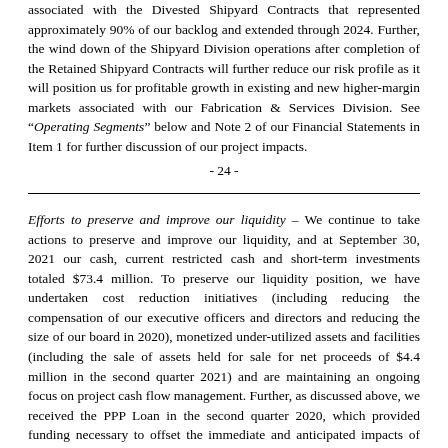associated with the Divested Shipyard Contracts that represented approximately 90% of our backlog and extended through 2024. Further, the wind down of the Shipyard Division operations after completion of the Retained Shipyard Contracts will further reduce our risk profile as it will position us for profitable growth in existing and new higher-margin markets associated with our Fabrication & Services Division. See "Operating Segments" below and Note 2 of our Financial Statements in Item 1 for further discussion of our project impacts.
- 24 -
Efforts to preserve and improve our liquidity – We continue to take actions to preserve and improve our liquidity, and at September 30, 2021 our cash, current restricted cash and short-term investments totaled $73.4 million. To preserve our liquidity position, we have undertaken cost reduction initiatives (including reducing the compensation of our executive officers and directors and reducing the size of our board in 2020), monetized under-utilized assets and facilities (including the sale of assets held for sale for net proceeds of $4.4 million in the second quarter 2021) and are maintaining an ongoing focus on project cash flow management. Further, as discussed above, we received the PPP Loan in the second quarter 2020, which provided funding necessary to offset the immediate and anticipated impacts of COVID-19.  It also provided us additional liquidity, which is important because a strong balance sheet is required to execute our backlog and compete for new project awards, and we experience significant